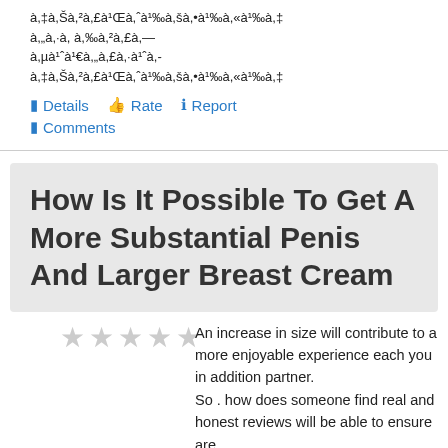à,‡à,Šà,²à,£à¹Œà,ˆà¹‰à,šà,•à¹‰à,«à¹‰à,‡ à,„à,·à, à,‰à,²à,£à,— à,µà¹ˆà¹€à,„à,£à,·à¹ˆà,- à,‡à,Šà,²à,£à¹Œà,ˆà¹‰à,šà,•à¹‰à,«à¹‰à,‡
Details  Rate  Report  Comments
How Is It Possible To Get A More Substantial Penis And Larger Breast Cream
An increase in size will contribute to a more enjoyable experience each you in addition partner.
So . how does someone find real and honest reviews will be able to ensure are